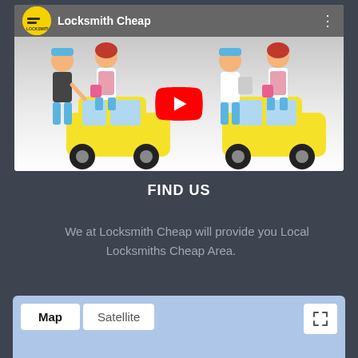[Figure (screenshot): YouTube video embed showing 'Locksmith Cheap' channel with a cartoon thumbnail of locksmiths and a yellow car, with a red YouTube play button in the center.]
FIND US
We at Locksmith Cheap will provide you Local Locksmiths Cheap Area.
[Figure (screenshot): Google Maps embed showing Map and Satellite tab buttons and a fullscreen expand icon, over a light blue map background.]